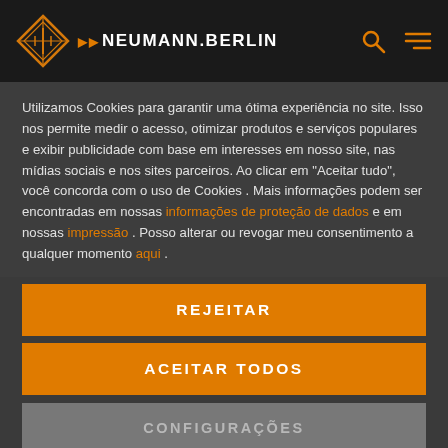NEUMANN.BERLIN
Utilizamos Cookies para garantir uma ótima experiência no site. Isso nos permite medir o acesso, otimizar produtos e serviços populares e exibir publicidade com base em interesses em nosso site, nas mídias sociais e nos sites parceiros. Ao clicar em "Aceitar tudo", você concorda com o uso de Cookies . Mais informações podem ser encontradas em nossas informações de proteção de dados e em nossas impressão . Posso alterar ou revogar meu consentimento a qualquer momento aqui .
REJEITAR
ACEITAR TODOS
CONFIGURAÇÕES